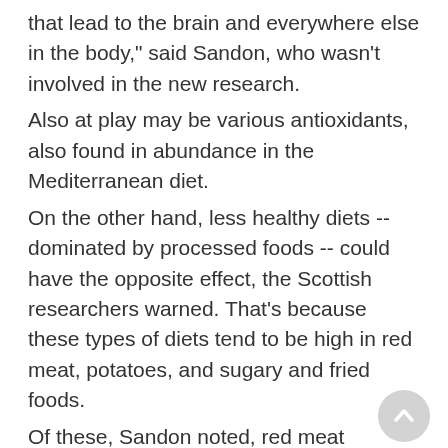that lead to the brain and everywhere else in the body," said Sandon, who wasn't involved in the new research.
Also at play may be various antioxidants, also found in abundance in the Mediterranean diet.
On the other hand, less healthy diets -- dominated by processed foods -- could have the opposite effect, the Scottish researchers warned. That's because these types of diets tend to be high in red meat, potatoes, and sugary and fried foods.
Of these, Sandon noted, red meat appears to be particularly unhealthy for the brain, probably because of red meat's high level of saturated fat. She added that processed foods are also packed with excessive salt, sugar and other components that can make them both cheap and addictive.
But if you've eaten an unhealthy diet most of your life